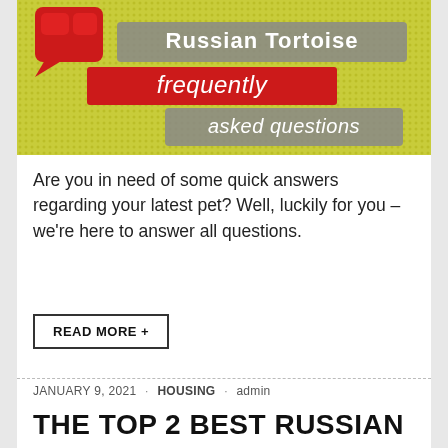[Figure (illustration): Russian Tortoise Frequently Asked Questions graphic. Yellow-green dotted background with a red speech bubble icon in the top-left corner. Three overlapping label banners: grey banner reading 'Russian Tortoise', red banner reading 'frequently', and grey banner reading 'asked questions'.]
Are you in need of some quick answers regarding your latest pet? Well, luckily for you – we're here to answer all questions.
READ MORE +
JANUARY 9, 2021 · HOUSING · admin
THE TOP 2 BEST RUSSIAN